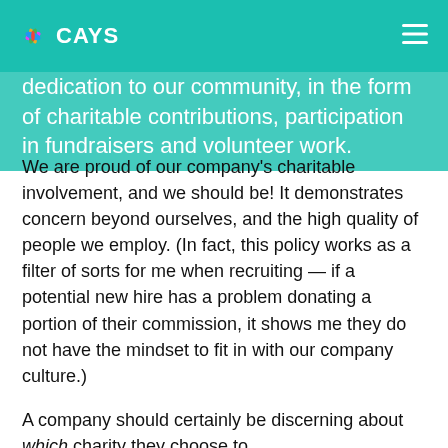CAYS
dedication to our community, in the form of charitable contributions, participation in fundraisers and volunteer work.
We are proud of our company's charitable involvement, and we should be! It demonstrates concern beyond ourselves, and the high quality of people we employ. (In fact, this policy works as a filter of sorts for me when recruiting — if a potential new hire has a problem donating a portion of their commission, it shows me they do not have the mindset to fit in with our company culture.)
A company should certainly be discerning about which charity they choose to